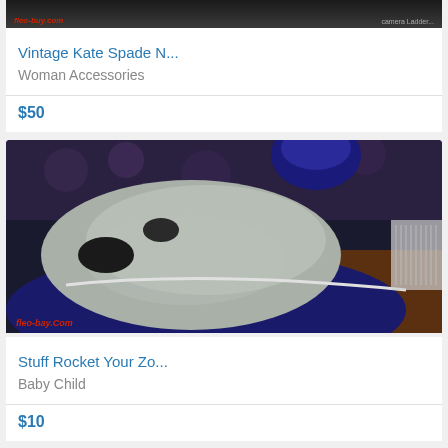[Figure (photo): Top of first product listing image, partially cropped, dark background with geo-buy.com watermark]
Vintage Kate Spade N...
Woman Accessories
$50
[Figure (photo): Stuffed rocket toy animal, grey and navy blue plush object on a wooden surface with floral background, geo-buy.com watermark]
Stuff Rocket Your Zo...
Baby Child
$10
[Figure (photo): Partial image of a third product listing, green and white pattern visible at bottom]